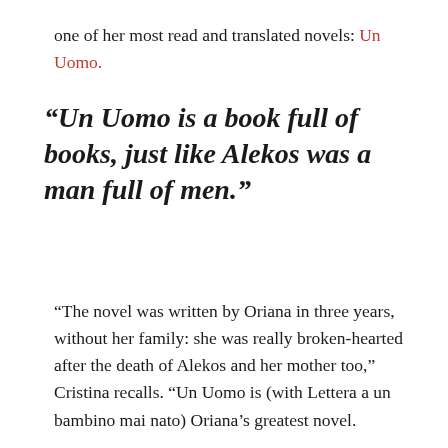one of her most read and translated novels: Un Uomo.
“Un Uomo is a book full of books, just like Alekos was a man full of men.”
“The novel was written by Oriana in three years, without her family: she was really broken-hearted after the death of Alekos and her mother too,” Cristina recalls. “Un Uomo is (with Lettera a un bambino mai nato) Oriana’s greatest novel.